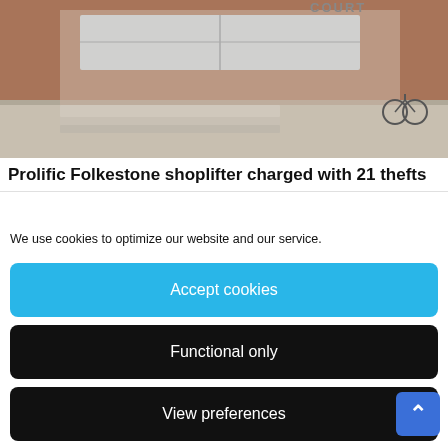[Figure (photo): Photo of a brick building exterior with signage reading 'COURT', steps and pavement visible in front]
Prolific Folkestone shoplifter charged with 21 thefts
We use cookies to optimize our website and our service.
Accept cookies
Functional only
View preferences
[Figure (photo): Photo of a town high street with brick buildings, flower boxes, shopfronts with blue awnings, pedestrians walking on a sunny day]